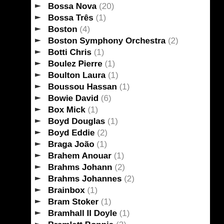Bossa Nova (20)
Bossa Três (1)
Boston (4)
Boston Symphony Orchestra (2)
Botti Chris (1)
Boulez Pierre (1)
Boulton Laura (1)
Boussou Hassan (1)
Bowie David (6)
Box Mick (1)
Boyd Douglas (1)
Boyd Eddie (2)
Braga João (1)
Brahem Anouar (1)
Brahms Johann (2)
Brahms Johannes (2)
Brainbox (1)
Bram Stoker (1)
Bramhall II Doyle (1)
Bramlett Bonnie (2)
Branco Waltel (1)
Brandenburg Inge (1)